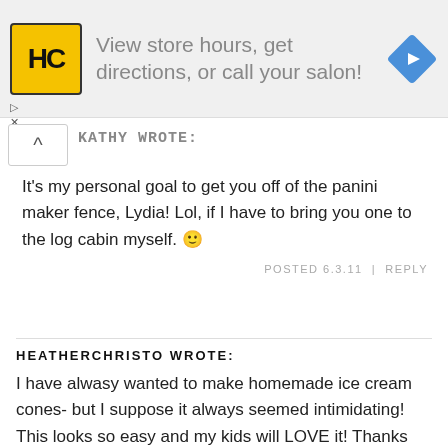[Figure (other): Advertisement banner with HC logo (yellow square with black HC letters), text 'View store hours, get directions, or call your salon!', and a blue diamond navigation icon on the right]
KATHY WROTE: (truncated/obscured)
It's my personal goal to get you off of the panini maker fence, Lydia! Lol, if I have to bring you one to the log cabin myself. 🙂
POSTED 6.3.11  |  REPLY
HEATHERCHRISTO WROTE:
I have alwasy wanted to make homemade ice cream cones- but I suppose it always seemed intimidating! This looks so easy and my kids will LOVE it! Thanks Kathy!